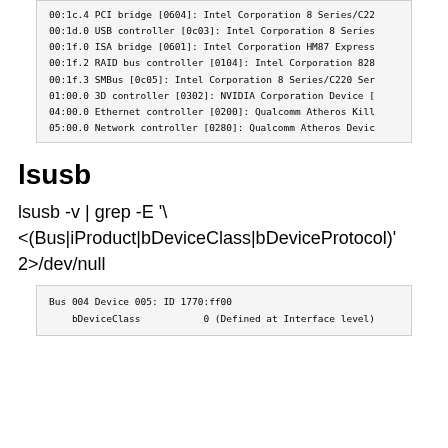00:1c.4 PCI bridge [0604]: Intel Corporation 8 Series/C22
00:1d.0 USB controller [0c03]: Intel Corporation 8 Series
00:1f.0 ISA bridge [0601]: Intel Corporation HM87 Express
00:1f.2 RAID bus controller [0104]: Intel Corporation 828
00:1f.3 SMBus [0c05]: Intel Corporation 8 Series/C220 Ser
01:00.0 3D controller [0302]: NVIDIA Corporation Device [
04:00.0 Ethernet controller [0200]: Qualcomm Atheros Kill
05:00.0 Network controller [0280]: Qualcomm Atheros Devic
lsusb
lsusb -v | grep -E '\
<(Bus|iProduct|bDeviceClass|bDeviceProtocol)'
2>/dev/null
Bus 004 Device 005: ID 1770:ff00
    bDeviceClass           0 (Defined at Interface level)